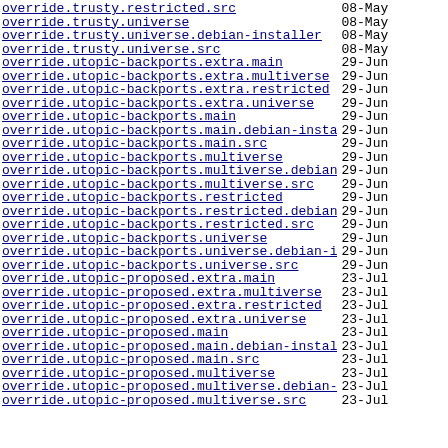override.trusty.restricted.src 08-May
override.trusty.universe 08-May
override.trusty.universe.debian-installer 08-May
override.trusty.universe.src 08-May
override.utopic-backports.extra.main 29-Jun
override.utopic-backports.extra.multiverse 29-Jun
override.utopic-backports.extra.restricted 29-Jun
override.utopic-backports.extra.universe 29-Jun
override.utopic-backports.main 29-Jun
override.utopic-backports.main.debian-installer 29-Jun
override.utopic-backports.main.src 29-Jun
override.utopic-backports.multiverse 29-Jun
override.utopic-backports.multiverse.debian-ins..> 29-Jun
override.utopic-backports.multiverse.src 29-Jun
override.utopic-backports.restricted 29-Jun
override.utopic-backports.restricted.debian-ins..> 29-Jun
override.utopic-backports.restricted.src 29-Jun
override.utopic-backports.universe 29-Jun
override.utopic-backports.universe.debian-insta..> 29-Jun
override.utopic-backports.universe.src 29-Jun
override.utopic-proposed.extra.main 23-Jul
override.utopic-proposed.extra.multiverse 23-Jul
override.utopic-proposed.extra.restricted 23-Jul
override.utopic-proposed.extra.universe 23-Jul
override.utopic-proposed.main 23-Jul
override.utopic-proposed.main.debian-installer 23-Jul
override.utopic-proposed.main.src 23-Jul
override.utopic-proposed.multiverse 23-Jul
override.utopic-proposed.multiverse.debian-inst..> 23-Jul
override.utopic-proposed.multiverse.src 23-Jul